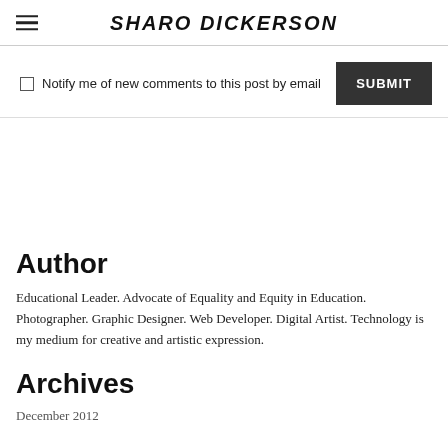SHARO DICKERSON
Notify me of new comments to this post by email  SUBMIT
Author
Educational Leader. Advocate of Equality and Equity in Education. Photographer. Graphic Designer. Web Developer. Digital Artist. Technology is my medium for creative and artistic expression.
Archives
December 2012